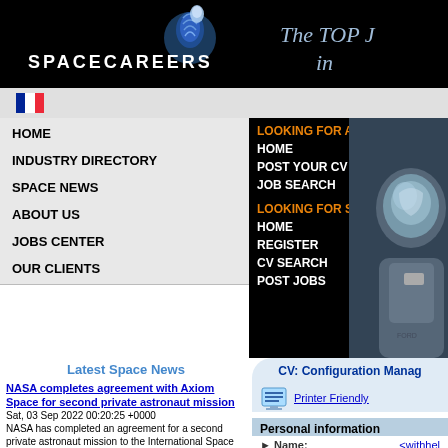[Figure (logo): SpaceCareers logo with spiral globe icon on black background, with italic text 'The TOP J... in' on right side]
[Figure (illustration): French flag icon in flag bar]
HOME
INDUSTRY DIRECTORY
SPACE NEWS
ABOUT US
JOBS CENTER
OUR CLIENTS
LOOKING FOR A JOB?
HOME
POST YOUR CV
JOB SEARCH
LOOKING FOR STAFF?
HOME
REGISTER
CV SEARCH
POST JOBS
[Figure (photo): Astronaut in spacesuit photo on right side]
Latest Space News
NASA completes agreement with Axiom Space for second private astronaut mission
Sat, 03 Sep 2022 00:20:25 +0000
NASA has completed an agreement for a second private astronaut mission to the International Space Station with Axiom Space, the only company that bid on the opportunity. The post NASA completes agreement with Axiom Space for second private astronaut mission appeared first on SpaceNews.
Countdown begins for second Artemis 1 launch attempt
Fri, 02 Sep 2022 08:01:53 +0000
NASA has restarted the countdown for
CV: Configuration Manag...
Printer Friendly
Personal information
Name: <withhel...